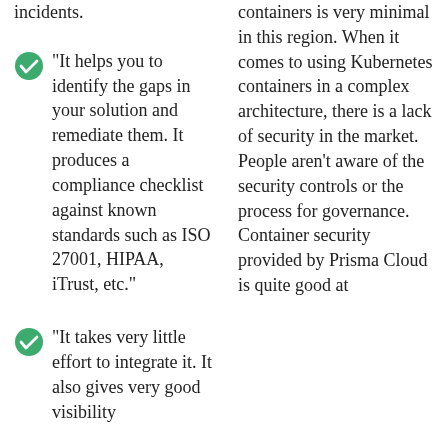incidents.
"It helps you to identify the gaps in your solution and remediate them. It produces a compliance checklist against known standards such as ISO 27001, HIPAA, iTrust, etc."
"It takes very little effort to integrate it. It also gives very good visibility
containers is very minimal in this region. When it comes to using Kubernetes containers in a complex architecture, there is a lack of security in the market. People aren't aware of the security controls or the process for governance. Container security provided by Prisma Cloud is quite good at